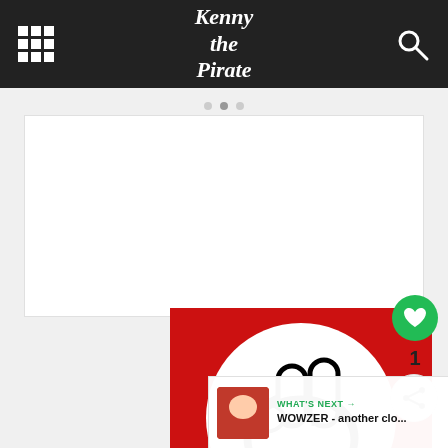Kenny the Pirate
[Figure (screenshot): White content/ad area below navigation breadcrumbs]
[Figure (illustration): Red background with circular black-and-white Mickey Mouse gloved hand logo/sign]
1
WHAT'S NEXT → WOWZER - another clo...